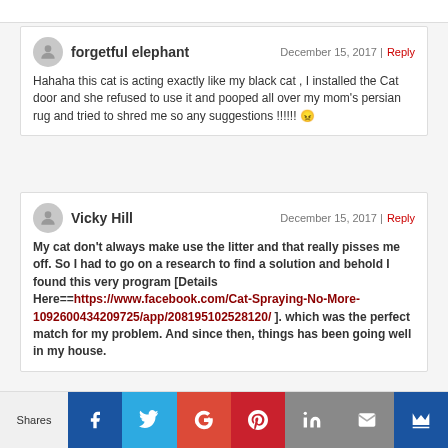forgetful elephant — December 15, 2017 | Reply
Hahaha this cat is acting exactly like my black cat , I installed the Cat door and she refused to use it and pooped all over my mom's persian rug and tried to shred me so any suggestions !!!!!! 😠
Vicky Hill — December 15, 2017 | Reply
My cat don't always make use the litter and that really pisses me off. So I had to go on a research to find a solution and behold I found this very program [Details Here==https://www.facebook.com/Cat-Spraying-No-More-1092600434209725/app/208195102528120/ ]. which was the perfect match for my problem. And since then, things has been going well in my house.
Shares